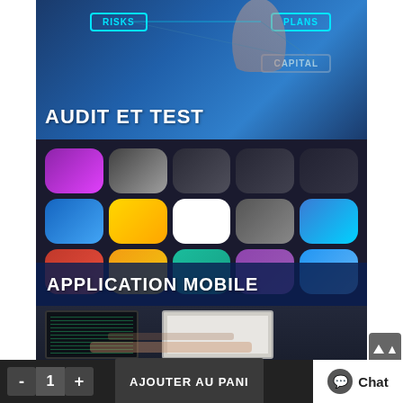[Figure (photo): Card with blue background showing RISKS, PLANS, CAPITAL nodes and a hand pointing, with text AUDIT ET TEST]
AUDIT ET TEST
[Figure (photo): Card showing smartphone app icons grid on dark background with APPLICATION MOBILE overlay text]
APPLICATION MOBILE
[Figure (photo): Photo of person typing on laptop with code visible, second laptop open in background]
- 1 + AJOUTER AU PANI Chat